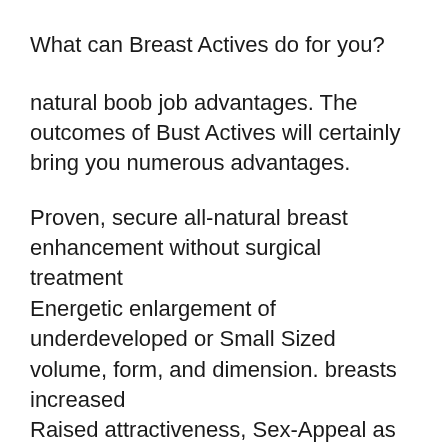What can Breast Actives do for you?
natural boob job advantages. The outcomes of Bust Actives will certainly bring you numerous advantages.
Proven, secure all-natural breast enhancement without surgical treatment
Energetic enlargement of underdeveloped or Small Sized volume, form, and dimension. breasts increased
Raised attractiveness, Sex-Appeal as well as confidence
Your Mug Dimension begins to raise after 60 days from the beginning of treatment
Full as well as irreversible outcomes gotten in 150 days. No demand to